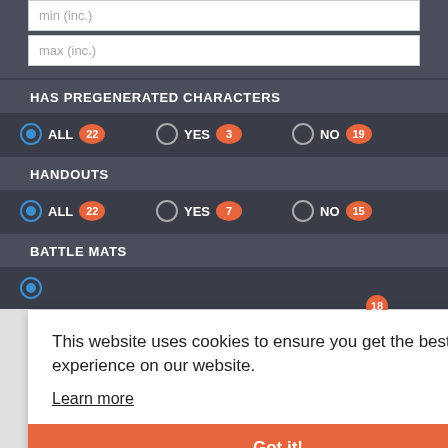min (inc.)
max (inc.)
HAS PREGENERATED CHARACTERS
ALL 22   YES 3   NO 19
HANDOUTS
ALL 22   YES 7   NO 15
BATTLE MATS
This website uses cookies to ensure you get the best experience on our website.
Learn more
Got it!